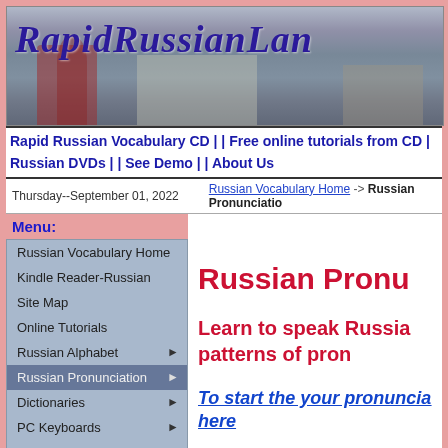[Figure (photo): Banner image of RapidRussianLanguage website with Moscow/Kremlin and Red Square photos in background, with italic bold purple text 'RapidRussianLan...' overlay]
Rapid Russian Vocabulary CD | | Free online tutorials from CD | Russian DVDs | | See Demo | | About Us
Thursday--September 01, 2022    Russian Vocabulary Home -> Russian Pronunciation
Menu:
Russian Vocabulary Home
Kindle Reader-Russian
Site Map
Online Tutorials
Russian Alphabet ▶
Russian Pronunciation ▶
Dictionaries ▶
PC Keyboards ▶
Pimsleur Products ▶
Russian DVDs
Search DVD Titles
DVD Classics ▶
Russian Pronu
Learn to speak Russia... patterns of pron
To start the your pronuncia... here